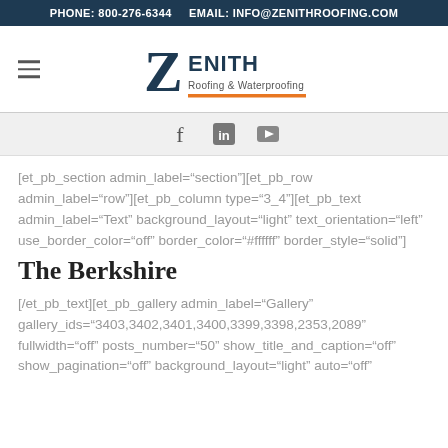PHONE: 800-276-6344   EMAIL: INFO@ZENITHROOFING.COM
[Figure (logo): Zenith Roofing & Waterproofing logo with large Z and orange underline]
[Figure (infographic): Social media icons: Facebook, LinkedIn, YouTube]
[et_pb_section admin_label="section"][et_pb_row admin_label="row"][et_pb_column type="3_4"][et_pb_text admin_label="Text" background_layout="light" text_orientation="left" use_border_color="off" border_color="#ffffff" border_style="solid"]
The Berkshire
[/et_pb_text][et_pb_gallery admin_label="Gallery" gallery_ids="3403,3402,3401,3400,3399,3398,2353,2089" fullwidth="off" posts_number="50" show_title_and_caption="off" show_pagination="off" background_layout="light" auto="off"